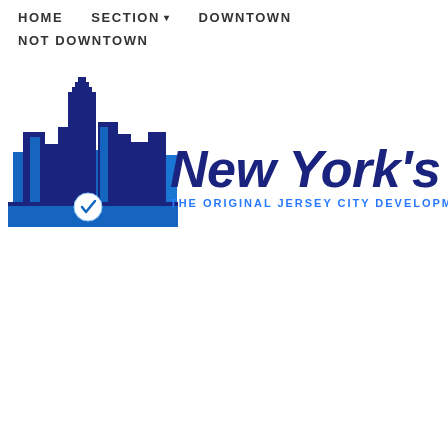HOME   SECTION ▾   DOWNTOWN   NOT DOWNTOWN
[Figure (logo): New York's Sixth - The Original Jersey City Development Blog logo with blue city skyline silhouette on the left and script text on the right]